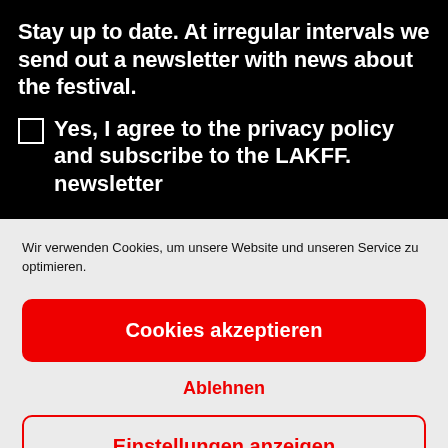Stay up to date. At irregular intervals we send out a newsletter with news about the festival.
Yes, I agree to the privacy policy and subscribe to the LAKFF. newsletter
Wir verwenden Cookies, um unsere Website und unseren Service zu optimieren.
Cookies akzeptieren
Ablehnen
Einstellungen anzeigen
Cookie Policy   Privacy Policy   Impressum